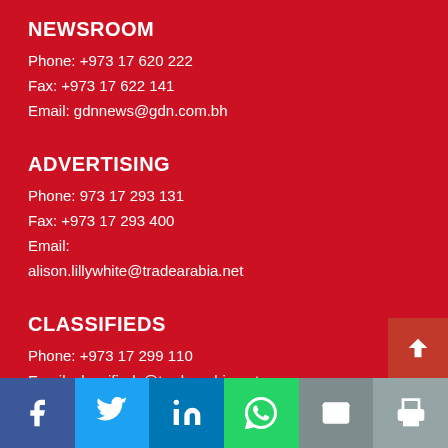NEWSROOM
Phone: +973 17 620 222
Fax: +973 17 622 141
Email: gdnnews@gdn.com.bh
ADVERTISING
Phone: 973 17 293 131
Fax: +973 17 293 400
Email:
alison.lillywhite@tradearabia.net
CLASSIFIEDS
Phone: +973 17 299 110
Email: classifieds@tradearabia.net
SUBSCRIPTION